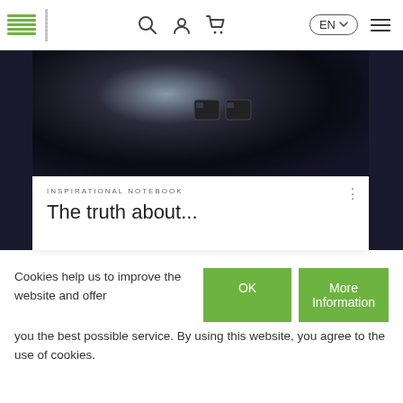Navigation bar with logo, search, account, cart icons, EN language selector, and hamburger menu
[Figure (photo): Dark artistic close-up photograph of what appears to be a notebook or dark object against a black background]
INSPIRATIONAL NOTEBOOK
The truth about...
Cookies help us to improve the website and offer you the best possible service. By using this website, you agree to the use of cookies.
OK
More Information